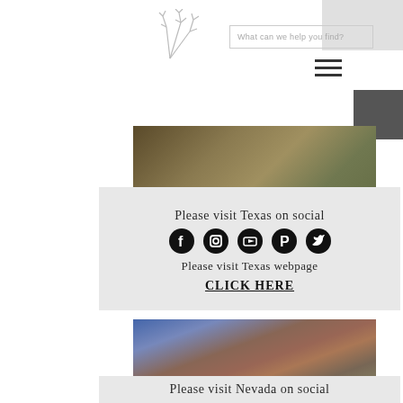[Figure (logo): Botanical/wildflower line art logo icon]
[Figure (screenshot): Search bar with placeholder text 'What can we help you find?']
[Figure (photo): Blurred outdoor scene, warm tones, trees or foliage]
Please visit Texas on social
[Figure (infographic): Row of 5 social media icons: Facebook, Instagram, YouTube, Pinterest, Twitter (all black circles)]
Please visit Texas webpage
CLICK HERE
[Figure (photo): Blurred outdoor scene with blue sky and red circular element, warm/cool tones]
Please visit Nevada on social
[Figure (infographic): Row of 5 social media icons: Facebook, Instagram, YouTube, Pinterest, Twitter (all black circles)]